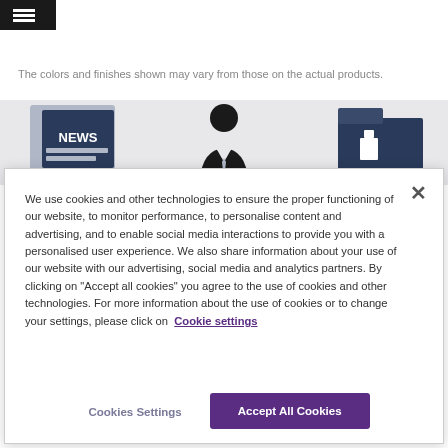[Figure (logo): Dark rectangular logo box with a white hamburger/menu icon]
The colors and finishes shown may vary from those on the actual products.
[Figure (illustration): Grey banner showing three dark icons: a NEWS newspaper icon on the left, a businessman figure in the center, and a folder icon on the right]
We use cookies and other technologies to ensure the proper functioning of our website, to monitor performance, to personalise content and advertising, and to enable social media interactions to provide you with a personalised user experience. We also share information about your use of our website with our advertising, social media and analytics partners. By clicking on "Accept all cookies" you agree to the use of cookies and other technologies. For more information about the use of cookies or to change your settings, please click on  Cookie settings
Cookies Settings
Accept All Cookies